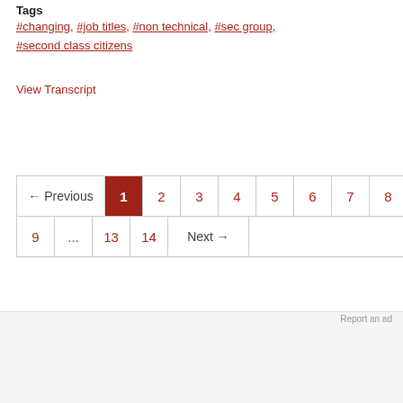Tags
#changing, #job titles, #non technical, #sec group, #second class citizens
View Transcript
← Previous  1  2  3  4  5  6  7  8  9  ...  13  14  Next →
[Figure (other): Advertisement banner: Your Pet's Summer Essentials - Petco, with filter icon, close button, and Petco logo]
Report an ad
Your Pet's Summer Essentials
Petco